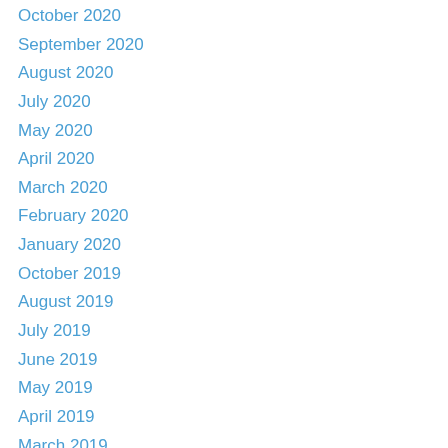October 2020
September 2020
August 2020
July 2020
May 2020
April 2020
March 2020
February 2020
January 2020
October 2019
August 2019
July 2019
June 2019
May 2019
April 2019
March 2019
February 2019
January 2019
December 2018
October 2018